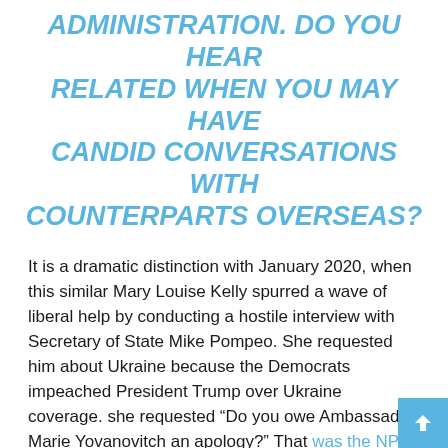ADMINISTRATION. DO YOU HEAR RELATED WHEN YOU MAY HAVE CANDID CONVERSATIONS WITH COUNTERPARTS OVERSEAS?
It is a dramatic distinction with January 2020, when this similar Mary Louise Kelly spurred a wave of liberal help by conducting a hostile interview with Secretary of State Mike Pompeo. She requested him about Ukraine because the Democrats impeached President Trump over Ukraine coverage. she requested “Do you owe Ambassador Marie Yovanovitch an apology?” That was the NPR angle within the headline on-line:
POMPEO WILL NOT SAY WHETHER OR NOT HE OWES YOVANOVITCH